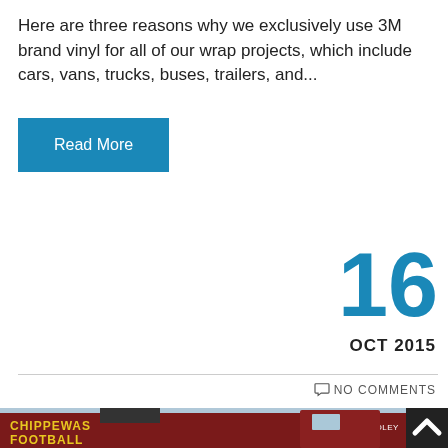Here are three reasons why we exclusively use 3M brand vinyl for all of our wrap projects, which include cars, vans, trucks, buses, trailers, and...
Read More
16
OCT 2015
NO COMMENTS
[Figure (photo): Photo of a large truck/trailer wrapped with 'Chippewas Football' branding in red and gold, with CMU logo visible. Text 'JIM PODDLEY' visible on the side. Multiple vehicles in background.]